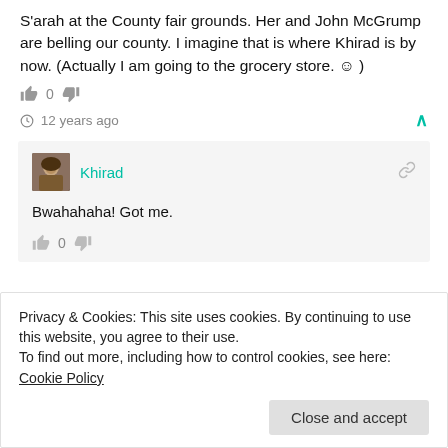S'arah at the County fair grounds. Her and John McGrump are belling our county. I imagine that is where Khirad is by now. (Actually I am going to the grocery store. ☺ )
👍 0 👎
🕐 12 years ago ∧
Khirad — Bwahahaha! Got me.
👍 0 👎
Privacy & Cookies: This site uses cookies. By continuing to use this website, you agree to their use. To find out more, including how to control cookies, see here: Cookie Policy
Close and accept